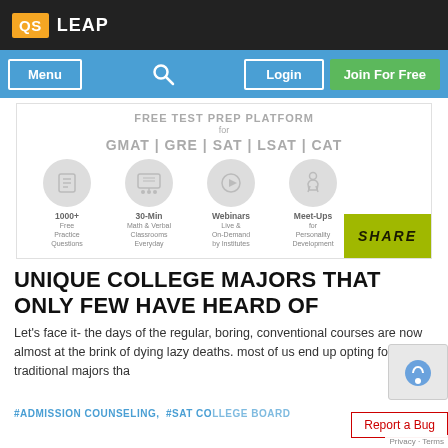QS LEAP
[Figure (screenshot): Navigation bar with Menu button, search icon, Login button, and Join For Free green button on blue background]
[Figure (infographic): Free Test Prep Platform banner for GMAT | GRE | SAT | LSAT | CAT with icons for 1000+ Free Practice Questions, 30-Min Math & Verbal Classrooms Everyday, Webinars Live & On-Demand by Institutes, Meet-Ups for Personality Development, and a SHARE button]
UNIQUE COLLEGE MAJORS THAT ONLY FEW HAVE HEARD OF
Let's face it- the days of the regular, boring, conventional courses are now almost at the brink of dying lazy deaths. most of us end up opting for those traditional majors tha
#ADMISSION COUNSELING,  #SAT COLLEGE BOARD